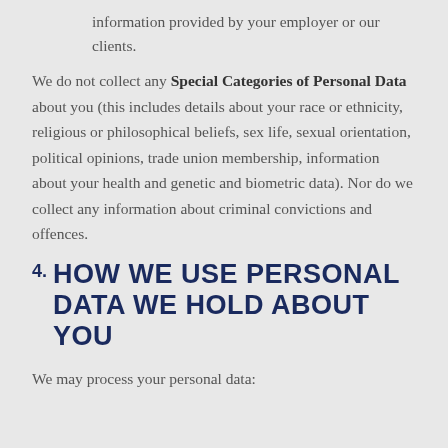information provided by your employer or our clients.
We do not collect any Special Categories of Personal Data about you (this includes details about your race or ethnicity, religious or philosophical beliefs, sex life, sexual orientation, political opinions, trade union membership, information about your health and genetic and biometric data). Nor do we collect any information about criminal convictions and offences.
4. HOW WE USE PERSONAL DATA WE HOLD ABOUT YOU
We may process your personal data: